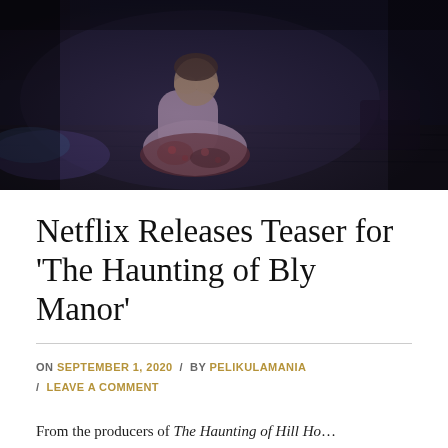[Figure (photo): Dark cinematic still from The Haunting of Bly Manor showing a child in a pink dress sitting on the floor in a dimly lit room]
Netflix Releases Teaser for 'The Haunting of Bly Manor'
ON SEPTEMBER 1, 2020 / BY PELIKULAMANIA / LEAVE A COMMENT
From the producers of The Haunting of Hill Ho...